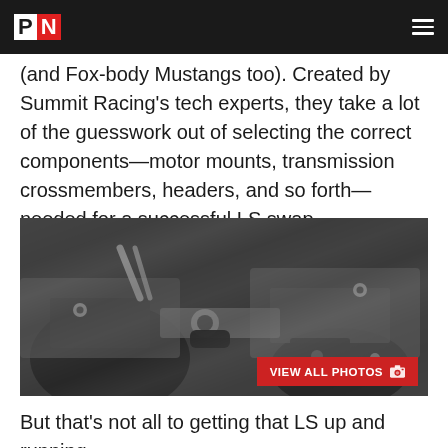PN
(and Fox-body Mustangs too). Created by Summit Racing’s tech experts, they take a lot of the guesswork out of selecting the correct components—motor mounts, transmission crossmembers, headers, and so forth—needed for a successful LS swap.
[Figure (photo): Close-up photo of automotive engine components, showing metal brackets, bolts, and a small cylindrical part, related to an LS swap installation.]
But that’s not all to getting that LS up and running.